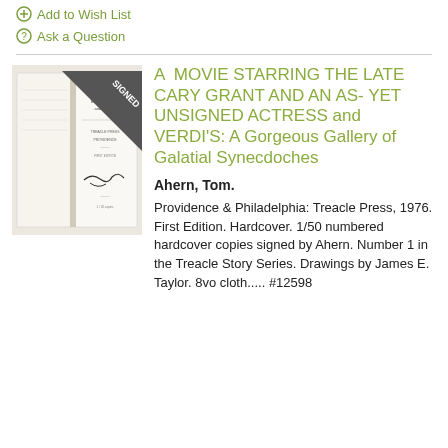⊕ Add to Wish List
⑦ Ask a Question
[Figure (photo): Photo of an open book showing title page with handwritten signature, from 'A Movie Starring the Late Cary Grant...' by Tom Ahern]
A MOVIE STARRING THE LATE CARY GRANT AND AN AS- YET UNSIGNED ACTRESS and VERDI'S: A Gorgeous Gallery of Galatial Synecdoches
Ahern, Tom.
Providence & Philadelphia: Treacle Press, 1976. First Edition. Hardcover. 1/50 numbered hardcover copies signed by Ahern. Number 1 in the Treacle Story Series. Drawings by James E. Taylor. 8vo cloth..... #12598